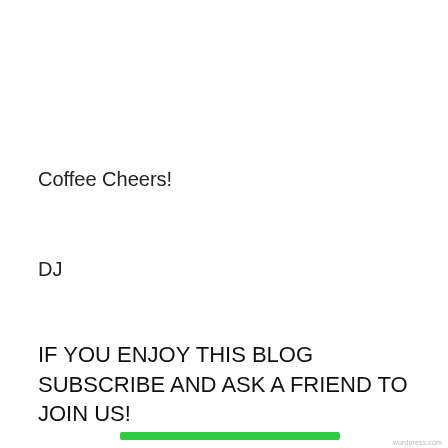Coffee Cheers!
DJ
IF YOU ENJOY THIS BLOG SUBSCRIBE AND ASK A FRIEND TO JOIN US!
Share this:
Privacy & Cookies: This site uses cookies. By continuing to use this website, you agree to their use.
To find out more, including how to control cookies, see here: Cookie Policy
Close and accept